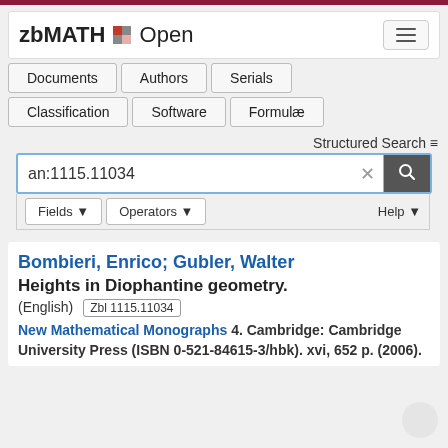[Figure (logo): zbMATH Open logo with colored squares and hamburger menu button]
Documents | Authors | Serials | Classification | Software | Formulae
Structured Search
an:1115.11034
Fields ▾   Operators ▾   Help ▾
Bombieri, Enrico; Gubler, Walter
Heights in Diophantine geometry.
(English)  Zbl 1115.11034
New Mathematical Monographs 4. Cambridge: Cambridge University Press (ISBN 0-521-84615-3/hbk). xvi, 652 p. (2006).